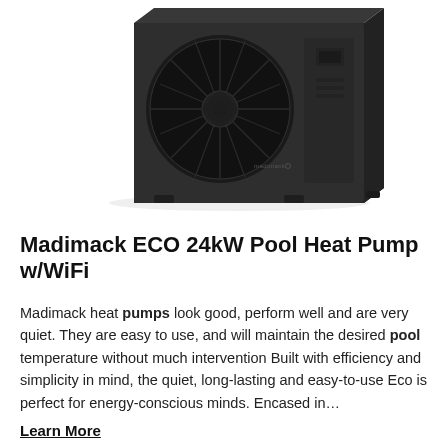[Figure (photo): A matte black Madimack pool heat pump unit with a large circular fan grille on the front face, viewed from a slight angle. The unit has a boxy rectangular shape with feet at the base and a small control panel area on the right side. The Madimack logo is visible on the front.]
Madimack ECO 24kW Pool Heat Pump w/WiFi
Madimack heat pumps look good, perform well and are very quiet. They are easy to use, and will maintain the desired pool temperature without much intervention Built with efficiency and simplicity in mind, the quiet, long-lasting and easy-to-use Eco is perfect for energy-conscious minds. Encased in…
Learn More